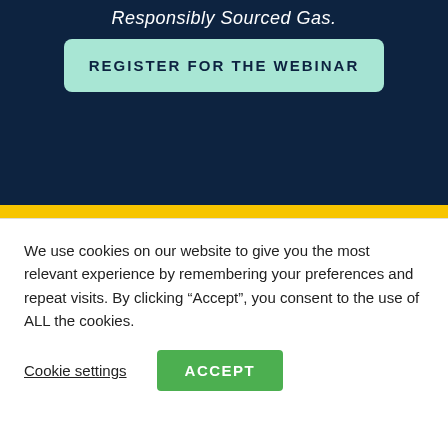Responsibly Sourced Gas.
REGISTER FOR THE WEBINAR
Project Canary in the News
Kellas Midstream Installs Project Canary Continuous Emissions Monitoring at Teesside CATS
CONTACT US
We use cookies on our website to give you the most relevant experience by remembering your preferences and repeat visits. By clicking "Accept", you consent to the use of ALL the cookies.
Cookie settings
ACCEPT